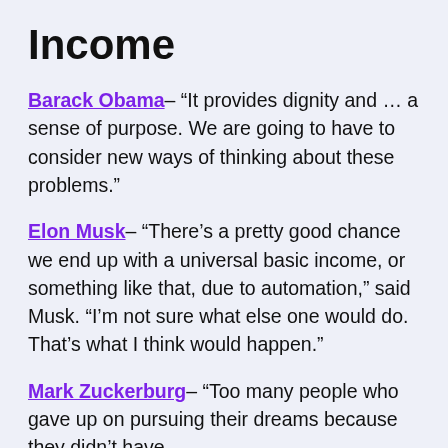Income
Barack Obama– “It provides dignity and … a sense of purpose. We are going to have to consider new ways of thinking about these problems.”
Elon Musk– “There’s a pretty good chance we end up with a universal basic income, or something like that, due to automation,” said Musk. “I’m not sure what else one would do. That’s what I think would happen.”
Mark Zuckerburg– “Too many people who gave up on pursuing their dreams because they didn’t have